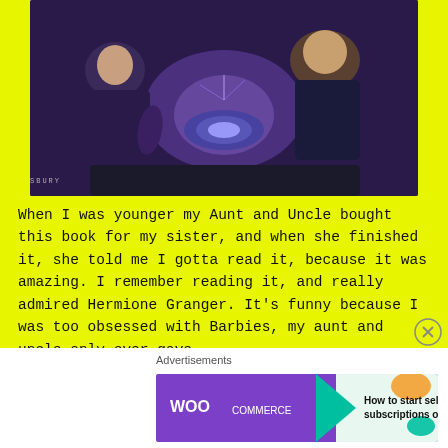[Figure (photo): Photo of a Bloomsbury book (Harry Potter) lying on a light blue surface, showing illustrated cover art with characters looking at a magical object, with 'BLOOMSBURY' text at the bottom of the book cover.]
When I was younger my Aunt and Uncle bought this book for my sister, and when she finished it, she told me I gotta read it, because it was amazing. I remember reading it, and really admired Hermione Granger. It’s funny because I was too obsessed with Barbies, my aunt and uncle only ever gave
Advertisements
[Figure (other): WooCommerce advertisement banner with teal arrow graphic and orange leaf shapes, text reads 'How to start selling subscriptions online']